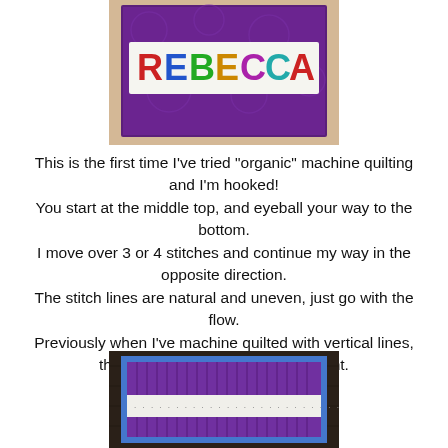[Figure (photo): A purple quilted wall hanging with colorful letters spelling REBECCA on a white background strip, surrounded by purple fabric border, on a tan/beige mat]
This is the first time I've tried "organic" machine quilting and I'm hooked!
You start at the middle top, and eyeball your way to the bottom.
I move over 3 or 4 stitches and continue my way in the opposite direction.
The stitch lines are natural and uneven, just go with the flow.
Previously when I've machine quilted with vertical lines, they were all measured and straight.
[Figure (photo): A purple quilted piece with vertical stitching lines visible, with a light colored fabric strip in the middle showing text/letters, blue binding on the edges, placed on a dark wooden surface]